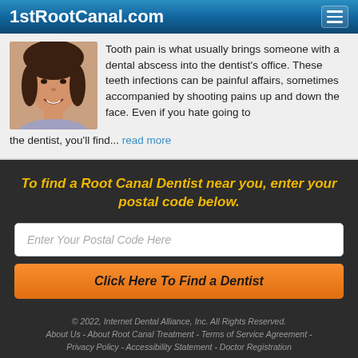1stRootCanal.com
Tooth pain is what usually brings someone with a dental abscess into the dentist's office. These teeth infections can be painful affairs, sometimes accompanied by shooting pains up and down the face. Even if you hate going to the dentist, you'll find... read more
To find a Root Canal Dentist near you, enter your postal code below.
Enter Your Postal Code Here
Click Here To Find a Dentist
© 2022, Internet Dental Alliance, Inc. All Rights Reserved. About Us - About Root Canal Treatment - Terms of Service Agreement - Privacy Policy - Accessibility Statement - Doctor Registration